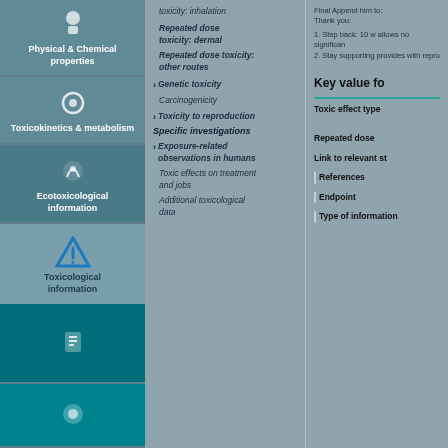[Figure (infographic): Left navigation column with teal icon blocks: Physical & Chemical properties, Toxicokinetics & metabolism, Ecotoxicological information, warning triangle icon for Toxicological information, and more teal icon blocks below.]
toxicity: inhalation
Repeated dose toxicity: dermal
Repeated dose toxicity: other routes
Genetic toxicity
Carcinogenicity
Toxicity to reproduction
Specific investigations
Exposure related observations in humans
Toxic effects on treatment and jobs
Additional toxicological data
Key value fo
Final Append him to: Thank you:
1. Step back: 10 w allows no significan
2. Stay supporting provides with repro
Toxic effect type
Repeated dose
Link to relevant st
References
Endpoint
Type of information